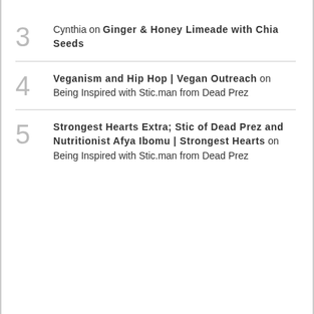3 — Cynthia on Ginger & Honey Limeade with Chia Seeds
4 — Veganism and Hip Hop | Vegan Outreach on Being Inspired with Stic.man from Dead Prez
5 — Strongest Hearts Extra; Stic of Dead Prez and Nutritionist Afya Ibomu | Strongest Hearts on Being Inspired with Stic.man from Dead Prez